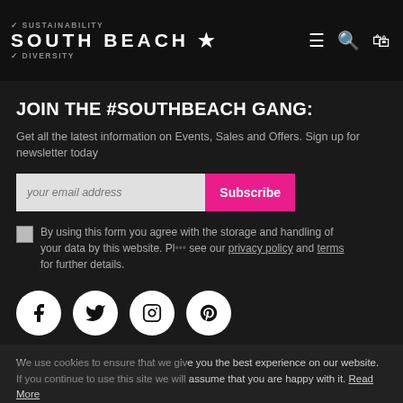SUSTAINABILITY | SOUTH BEACH ★ | DIVERSITY
JOIN THE #SOUTHBEACH GANG:
Get all the latest information on Events, Sales and Offers. Sign up for newsletter today
your email address | Subscribe
By using this form you agree with the storage and handling of your data by this website. Please see our privacy policy and terms for further details.
[Figure (other): Social media icons: Facebook, Twitter, Instagram, Pinterest in white circles on dark background]
We use cookies to ensure that we give you the best experience on our website. If you continue to use this site we will assume that you are happy with it. Read More
© South Beach All Rights Reserved | Accept